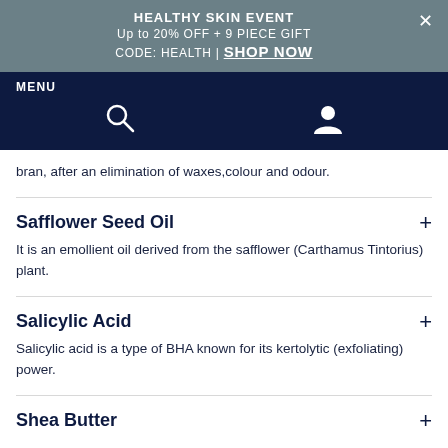HEALTHY SKIN EVENT
Up to 20% OFF + 9 PIECE GIFT
CODE: HEALTH | SHOP NOW
MENU
bran, after an elimination of waxes,colour and odour.
Safflower Seed Oil
It is an emollient oil derived from the safflower (Carthamus Tintorius) plant.
Salicylic Acid
Salicylic acid is a type of BHA known for its kertolytic (exfoliating) power.
Shea Butter